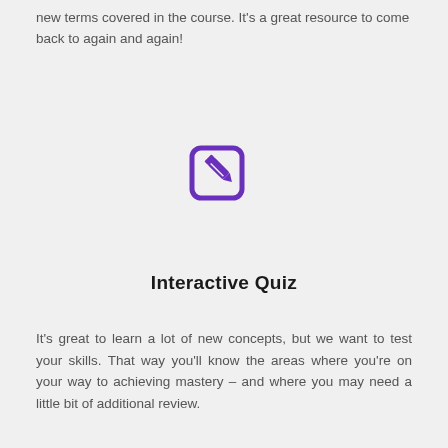new terms covered in the course. It's a great resource to come back to again and again!
[Figure (illustration): Purple icon of a document/notepad with a pencil overlay, indicating an interactive quiz or writing activity]
Interactive Quiz
It's great to learn a lot of new concepts, but we want to test your skills. That way you'll know the areas where you're on your way to achieving mastery – and where you may need a little bit of additional review.